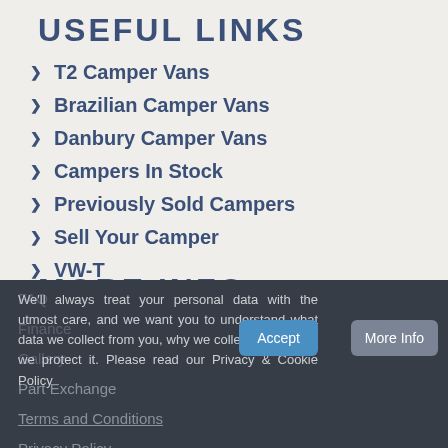USEFUL LINKS
T2 Camper Vans
Brazilian Camper Vans
Danbury Camper Vans
Campers In Stock
Previously Sold Campers
Sell Your Camper
VW-T
MORE INFO
FAQ
Finance
Gallery
Part Exchange
Terms and Conditions
Privacy Policy
We'll always treat your personal data with the utmost care, and we want you to understand what data we collect from you, why we collect it, and how we protect it. Please read our Privacy & Cookie Policy